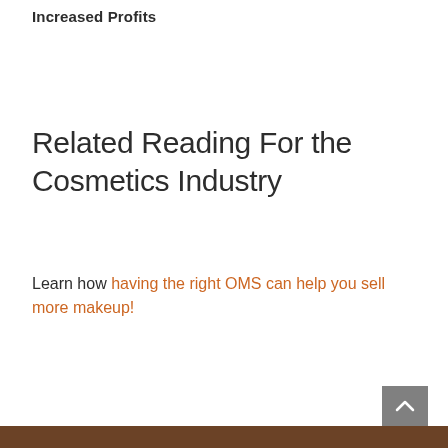Increased Profits
Related Reading For the Cosmetics Industry
Learn how having the right OMS can help you sell more makeup!